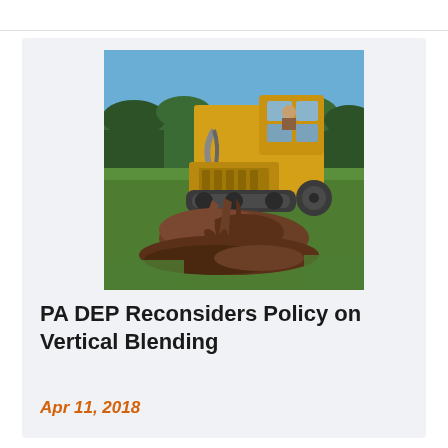[Figure (photo): Yellow construction machine (vertical blending/mulching equipment) operating in a green field, depositing soil/mulch material, with trees and sky in background. Operator visible in cab.]
PA DEP Reconsiders Policy on Vertical Blending
Apr 11, 2018